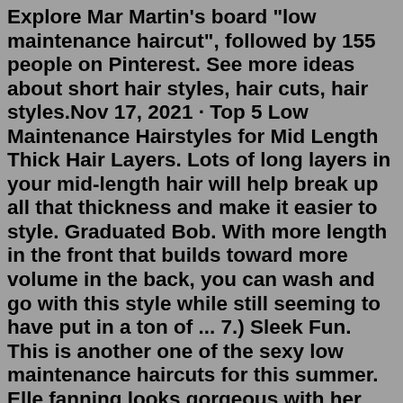Explore Mar Martin's board "low maintenance haircut", followed by 155 people on Pinterest. See more ideas about short hair styles, hair cuts, hair styles.Nov 17, 2021 · Top 5 Low Maintenance Hairstyles for Mid Length Thick Hair Layers. Lots of long layers in your mid-length hair will help break up all that thickness and make it easier to style. Graduated Bob. With more length in the front that builds toward more volume in the back, you can wash and go with this style while still seeming to have put in a ton of ... 7.) Sleek Fun. This is another one of the sexy low maintenance haircuts for this summer. Elle fanning looks gorgeous with her dark brown shoulder length haircut that is easy to maintain if you are ready to go woman. 8.) Blonde Bob Haircut. This is one of the easy low maintenance haircuts to try.The Best Low Maintenance Haircuts For Thick Hair 1. Goddess Braid View this post on Instagram A post shared by Hair.com by L'Oréal (@hairdotcom) Making a low crown with a classic French braid is easy and shouldn't take more than 10 minutes. You